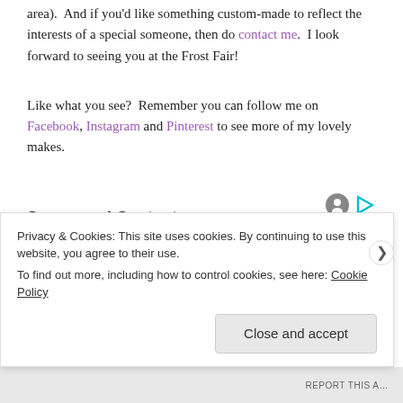area).  And if you'd like something custom-made to reflect the interests of a special someone, then do contact me.  I look forward to seeing you at the Frost Fair!
Like what you see?  Remember you can follow me on Facebook, Instagram and Pinterest to see more of my lovely makes.
Sponsored Content
Privacy & Cookies: This site uses cookies. By continuing to use this website, you agree to their use. To find out more, including how to control cookies, see here: Cookie Policy
Close and accept